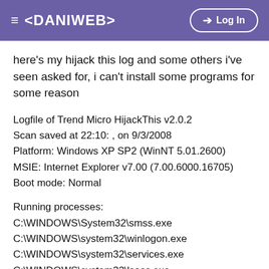≡ <DANIWEB>  Log In
here's my hijack this log and some others i've seen asked for, i can't install some programs for some reason
Logfile of Trend Micro HijackThis v2.0.2
Scan saved at 22:10: , on 9/3/2008
Platform: Windows XP SP2 (WinNT 5.01.2600)
MSIE: Internet Explorer v7.00 (7.00.6000.16705)
Boot mode: Normal

Running processes:
C:\WINDOWS\System32\smss.exe
C:\WINDOWS\system32\winlogon.exe
C:\WINDOWS\system32\services.exe
C:\WINDOWS\system32\lsass.exe
C:\WINDOWS\system32\svchost.exe
C:\WINDOWS\System32\svchost.exe
C:\WINDOWS\system32\svchost.exe
C:\Program Files\Sygate\SPF\smc.exe
C:\WINDOWS\system32\spoolsv.exe